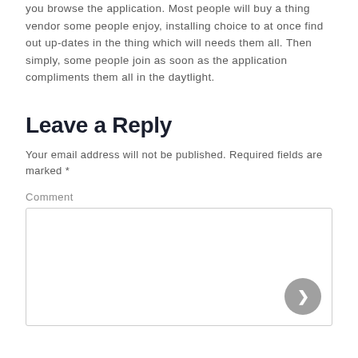you browse the application. Most people will buy a thing vendor some people enjoy, installing choice to at once find out up-dates in the thing which will needs them all. Then simply, some people join as soon as the application compliments them all in the daytlight.
Leave a Reply
Your email address will not be published. Required fields are marked *
Comment